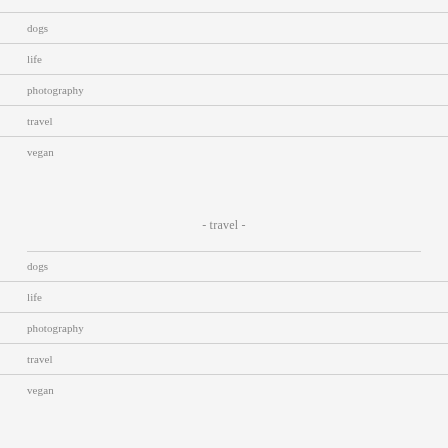dogs
life
photography
travel
vegan
- travel -
dogs
life
photography
travel
vegan